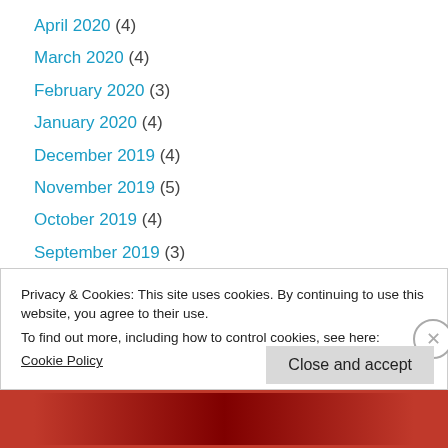April 2020 (4)
March 2020 (4)
February 2020 (3)
January 2020 (4)
December 2019 (4)
November 2019 (5)
October 2019 (4)
September 2019 (3)
August 2019 (3)
Privacy & Cookies: This site uses cookies. By continuing to use this website, you agree to their use.
To find out more, including how to control cookies, see here: Cookie Policy
Close and accept